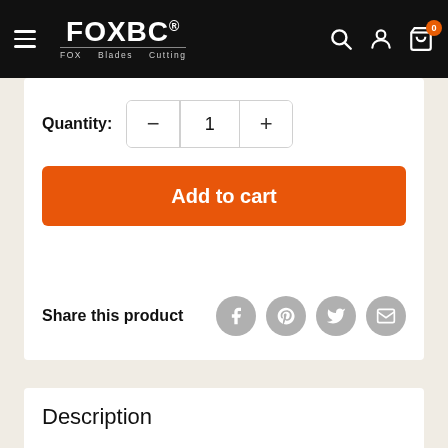[Figure (screenshot): FOXBC e-commerce website navigation bar with hamburger menu, FOXBC logo (FOX Blades Cutting), search icon, account icon, and cart icon with badge showing 0]
Quantity: 1
Add to cart
Share this product
Description